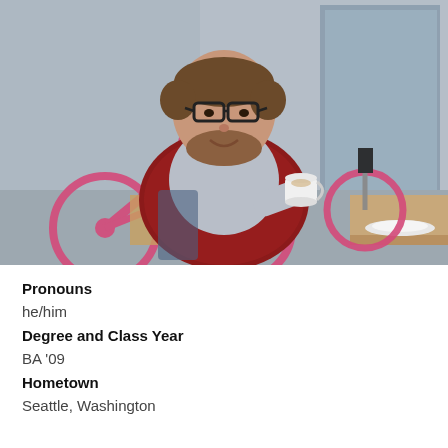[Figure (photo): A man with glasses and a beard wearing a red plaid jacket over a grey hoodie, sitting outdoors at a cafe table holding a white coffee cup. A pink bicycle is visible in the background along with a storefront.]
Pronouns
he/him
Degree and Class Year
BA '09
Hometown
Seattle, Washington